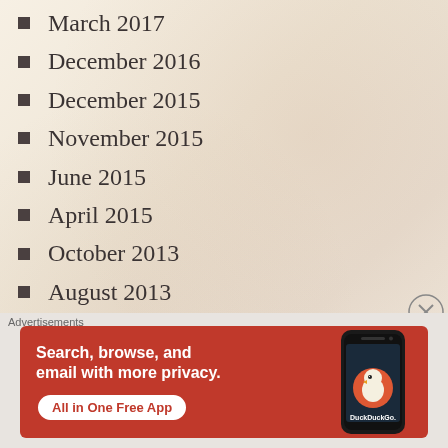March 2017
December 2016
December 2015
November 2015
June 2015
April 2015
October 2013
August 2013
June 2013
Advertisements
[Figure (other): DuckDuckGo advertisement banner showing 'Search, browse, and email with more privacy. All in One Free App' with phone image and DuckDuckGo logo]